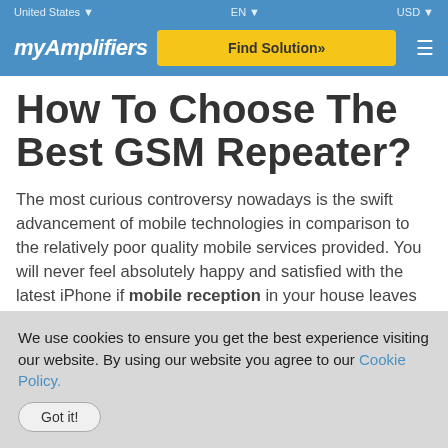United States  EN  USD
myAmplifiers  Find Solution»
How To Choose The Best GSM Repeater?
The most curious controversy nowadays is the swift advancement of mobile technologies in comparison to the relatively poor quality mobile services provided. You will never feel absolutely happy and satisfied with the latest iPhone if mobile reception in your house leaves much to be desired. Or you are unlikely to enjoy fast
We use cookies to ensure you get the best experience visiting our website. By using our website you agree to our Cookie Policy.  Got it!